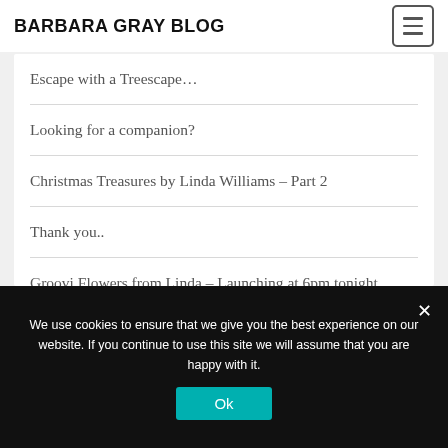BARBARA GRAY BLOG
Escape with a Treescape…
Looking for a companion?
Christmas Treasures by Linda Williams – Part 2
Thank you..
Groovi Flowers from Linda – Launching at 6pm tonight
We use cookies to ensure that we give you the best experience on our website. If you continue to use this site we will assume that you are happy with it.